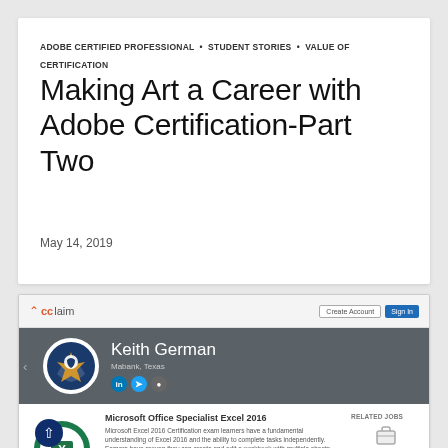ADOBE CERTIFIED PROFESSIONAL • STUDENT STORIES • VALUE OF CERTIFICATION
Making Art a Career with Adobe Certification-Part Two
May 14, 2019
[Figure (screenshot): Screenshot of the Acclaim badge platform showing Keith German's profile from Mabank, Texas with social media icons, and a Microsoft Office Specialist Excel 2016 badge with description and Related Jobs section.]